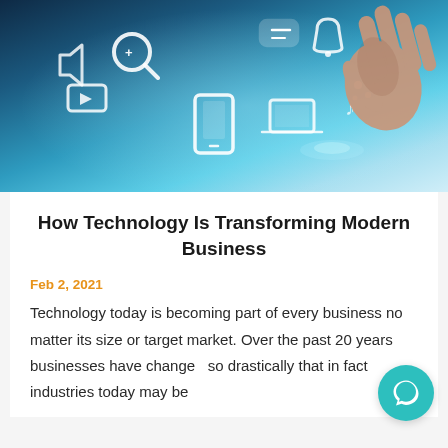[Figure (photo): A human hand touching a glowing digital interface with various floating technology icons including a magnifying glass, phone, chat bubble, and media icons on a blue-toned background.]
How Technology Is Transforming Modern Business
Feb 2, 2021
Technology today is becoming part of every business no matter its size or target market. Over the past 20 years businesses have changed so drastically that in fact industries today may be